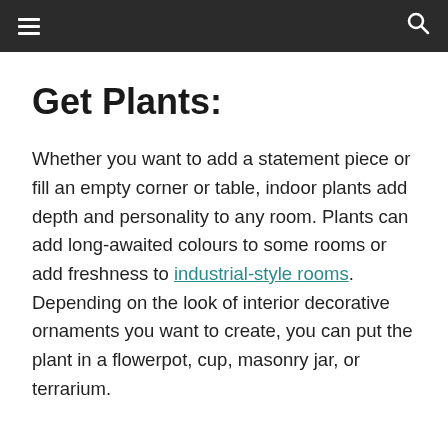≡  🔍
Get Plants:
Whether you want to add a statement piece or fill an empty corner or table, indoor plants add depth and personality to any room. Plants can add long-awaited colours to some rooms or add freshness to industrial-style rooms. Depending on the look of interior decorative ornaments you want to create, you can put the plant in a flowerpot, cup, masonry jar, or terrarium.